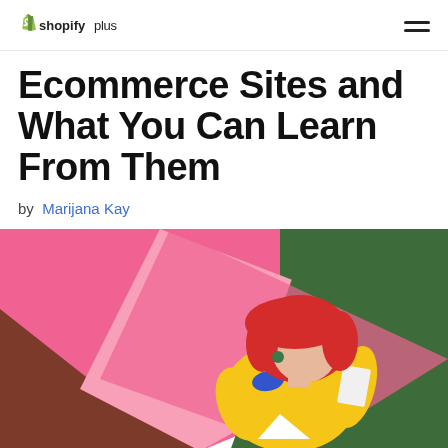shopifyplus
Ecommerce Sites and What You Can Learn From Them
by Marijana Kay
[Figure (illustration): Colorful flat illustration of a person with red hair wearing a yellow outfit, reading a book. Background features geometric color blocks of pink, dark green, brown/maroon, and a light triangle shape.]